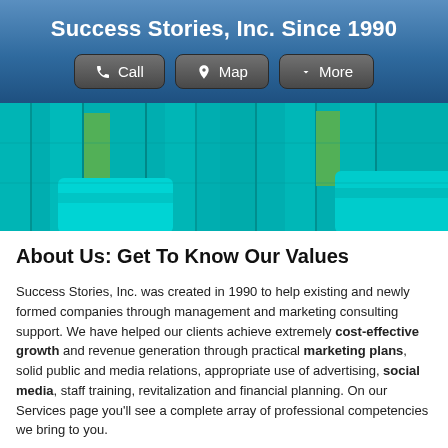Success Stories, Inc. Since 1990
[Figure (screenshot): Navigation buttons row: Call, Map, More]
[Figure (photo): Photo of teal/turquoise painted wooden fence slats with green grass visible through gaps, and teal chairs in foreground]
About Us: Get To Know Our Values
Success Stories, Inc. was created in 1990 to help existing and newly formed companies through management and marketing consulting support. We have helped our clients achieve extremely cost-effective growth and revenue generation through practical marketing plans, solid public and media relations, appropriate use of advertising, social media, staff training, revitalization and financial planning. On our Services page you'll see a complete array of professional competencies we bring to you.